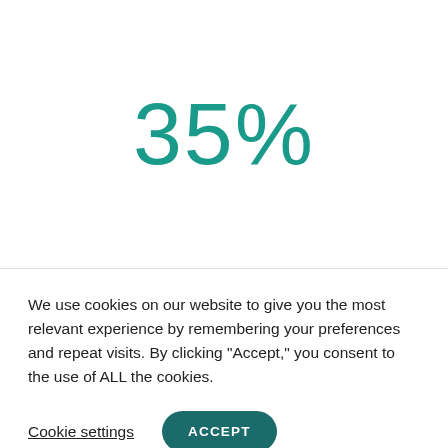35%
We use cookies on our website to give you the most relevant experience by remembering your preferences and repeat visits. By clicking “Accept,” you consent to the use of ALL the cookies.
Cookie settings
ACCEPT